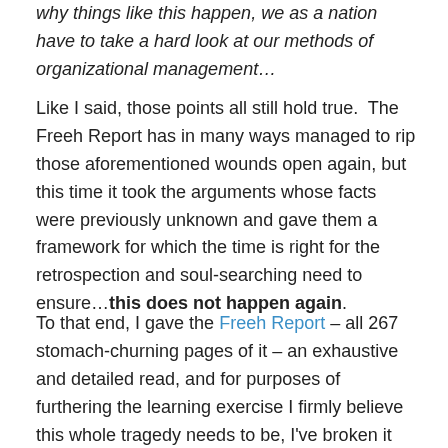why things like this happen, we as a nation have to take a hard look at our methods of organizational management…
Like I said, those points all still hold true.  The Freeh Report has in many ways managed to rip those aforementioned wounds open again, but this time it took the arguments whose facts were previously unknown and gave them a framework for which the time is right for the retrospection and soul-searching need to ensure…this does not happen again.
To that end, I gave the Freeh Report – all 267 stomach-churning pages of it – an exhaustive and detailed read, and for purposes of furthering the learning exercise I firmly believe this whole tragedy needs to be, I've broken it down to several points which need to be considered fully in order to further the previously-cited and exclusively important matters.